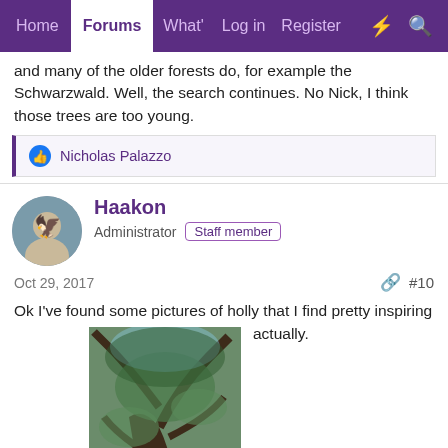Home | Forums | What's New | Log in | Register
and many of the older forests do, for example the Schwarzwald. Well, the search continues. No Nick, I think those trees are too young.
Nicholas Palazzo
Haakon
Administrator  Staff member
Oct 29, 2017  #10
Ok I've found some pictures of holly that I find pretty inspiring actually. Especially these two give some idea of what a forest full of hollies could look like. Not that they show a forest scene, but they are large and you can picture elves living in them...
[Figure (photo): A large, gnarly holly tree with twisted mossy trunk and branches, photographed from below looking up into the canopy.]